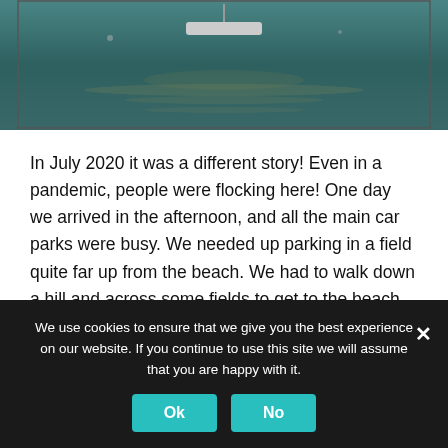[Figure (photo): Top portion of a photo showing water/sea with a boat and light reflections on the surface]
In July 2020 it was a different story! Even in a pandemic, people were flocking here! One day we arrived in the afternoon, and all the main car parks were busy. We needed up parking in a field quite far up from the beach. We had to walk down a hill and across some fields to get to the beach. This was fine on the way down but sweltering on the way back up. We didn't even go dow onto the beach as it was super crowded as you can see in the photo below but it was still lovely to go for a walk here.
We use cookies to ensure that we give you the best experience on our website. If you continue to use this site we will assume that you are happy with it.